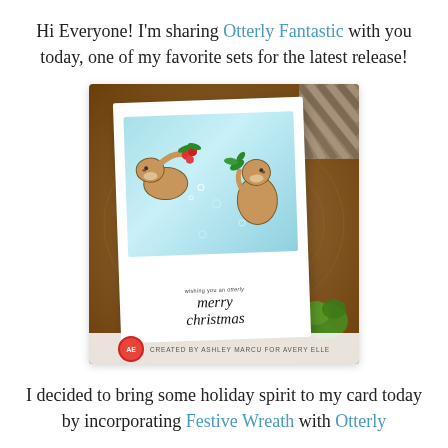Hi Everyone! I'm sharing Otterly Fantastic with you today, one of my favorite sets for the latest release!
[Figure (photo): A handmade Christmas card featuring two illustrated otters on a light blue background, one holding red holly berries and one holding a green sprig, with the sentiment 'wishing you an otterly merry christmas' written in calligraphy. The white card is displayed on a wooden slice/board, with greenery and a black-and-white checkered pattern visible in the corners. A watermark reads 'CREATED BY ASHLEY MARCU FOR AVERY ELLE' with a red logo circle.]
I decided to bring some holiday spirit to my card today by incorporating Festive Wreath with Otterly